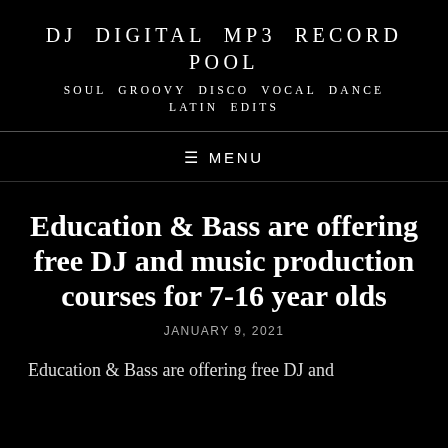DJ DIGITAL MP3 RECORD POOL
SOUL GROOVY DISCO VOCAL DANCE LATIN EDITS
≡ MENU
Education & Bass are offering free DJ and music production courses for 7-16 year olds
JANUARY 9, 2021
Education & Bass are offering free DJ and